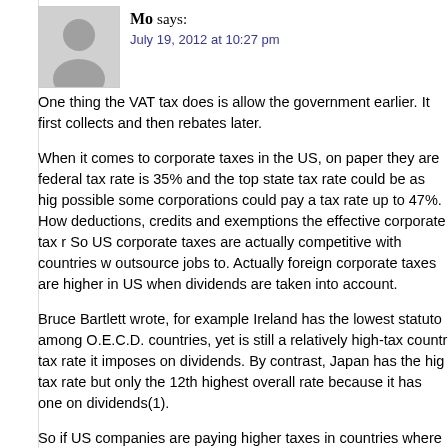[Figure (illustration): Generic grey avatar/person silhouette icon]
Mo says:
July 19, 2012 at 10:27 pm
One thing the VAT tax does is allow the government earlier. It first collects and then rebates later.
When it comes to corporate taxes in the US, on paper they are federal tax rate is 35% and the top state tax rate could be as high possible some corporations could pay a tax rate up to 47%. How deductions, credits and exemptions the effective corporate tax r So US corporate taxes are actually competitive with countries w outsource jobs to. Actually foreign corporate taxes are higher in US when dividends are taken into account.
Bruce Bartlett wrote, for example Ireland has the lowest statuto among O.E.C.D. countries, yet is still a relatively high-tax countr tax rate it imposes on dividends. By contrast, Japan has the high tax rate but only the 12th highest overall rate because it has one on dividends(1).
So if US companies are paying higher taxes in countries where factories to, then what accounts for the move? The only reason industrial policies that grant subsidies for that sector at the expe
Once again if we look at countries like Germany, Japan, China,